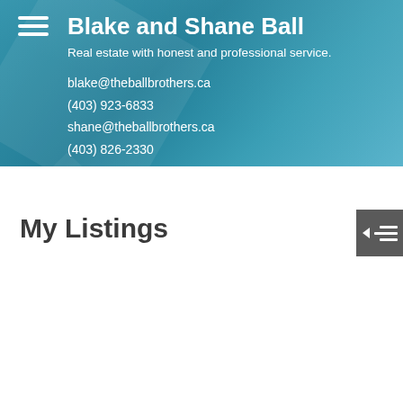Blake and Shane Ball
Real estate with honest and professional service.
blake@theballbrothers.ca
(403) 923-6833
shane@theballbrothers.ca
(403) 826-2330
My Listings